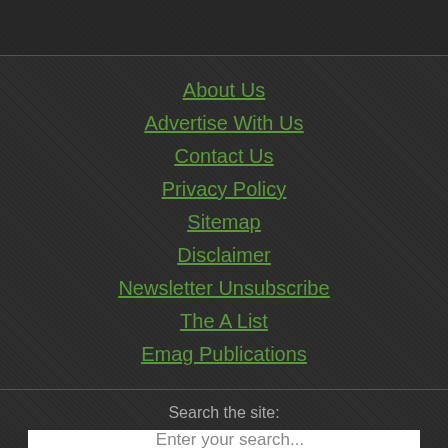About Us
Advertise With Us
Contact Us
Privacy Policy
Sitemap
Disclaimer
Newsletter Unsubscribe
The A List
Emag Publications
Search the site:
Enter your search...
Search